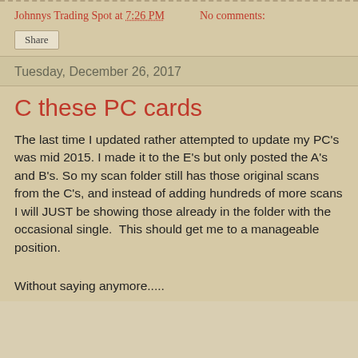Johnnys Trading Spot at 7:26 PM    No comments:
Share
Tuesday, December 26, 2017
C these PC cards
The last time I updated rather attempted to update my PC's was mid 2015. I made it to the E's but only posted the A's and B's. So my scan folder still has those original scans from the C's, and instead of adding hundreds of more scans I will JUST be showing those already in the folder with the occasional single.  This should get me to a manageable position.
Without saying anymore.....